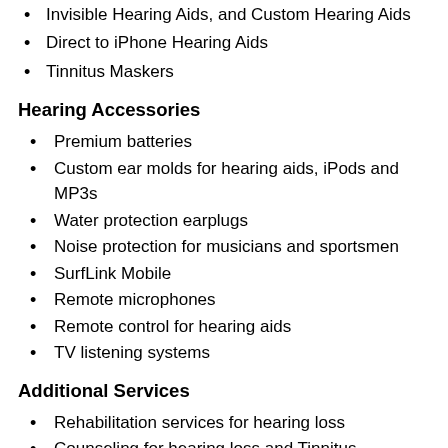Invisible Hearing Aids, and Custom Hearing Aids
Direct to iPhone Hearing Aids
Tinnitus Maskers
Hearing Accessories
Premium batteries
Custom ear molds for hearing aids, iPods and MP3s
Water protection earplugs
Noise protection for musicians and sportsmen
SurfLink Mobile
Remote microphones
Remote control for hearing aids
TV listening systems
Additional Services
Rehabilitation services for hearing loss
Counseling for hearing loss and Tinnitus
Cerumen management (earwax removal)
Hearing aid dispensing services for the home bound